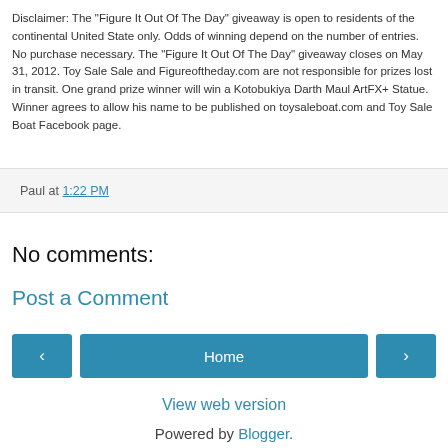Disclaimer: The "Figure It Out Of The Day" giveaway is open to residents of the continental United State only. Odds of winning depend on the number of entries. No purchase necessary. The "Figure It Out Of The Day" giveaway closes on May 31, 2012. Toy Sale Sale and Figureoftheday.com are not responsible for prizes lost in transit. One grand prize winner will win a Kotobukiya Darth Maul ArtFX+ Statue. Winner agrees to allow his name to be published on toysaleboat.com and Toy Sale Boat Facebook page.
Paul at 1:22 PM
No comments:
Post a Comment
Home
View web version
Powered by Blogger.